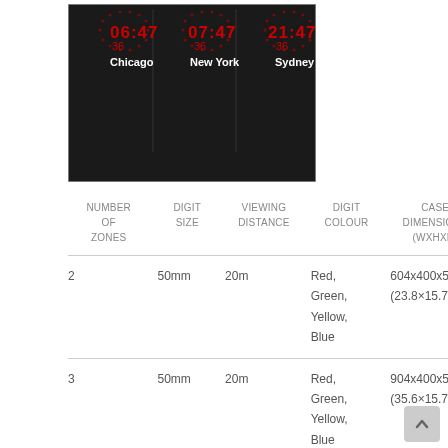[Figure (screenshot): Digital world clock display showing three analog/digital clocks with red LED displays. Chicago: 06:47 (36 seconds), New York: 07:47 (36 seconds), Sydney: 21:47 (36 seconds). Black background with white city labels at bottom.]
| NUMBER OF ZONES | DIGIT SIZE | VIEWING DISTANCE | DIGIT COLOUR | CASE DIMENSIONS (WXHXD) |
| --- | --- | --- | --- | --- |
| 2 | 50mm | 20m | Red, Green, Yellow, Blue | 604x400x58mm
(23.8×15.7×2.3") |
| 3 | 50mm | 20m | Red, Green, Yellow, Blue | 904x400x58mm
(35.6×15.7×2.3") |